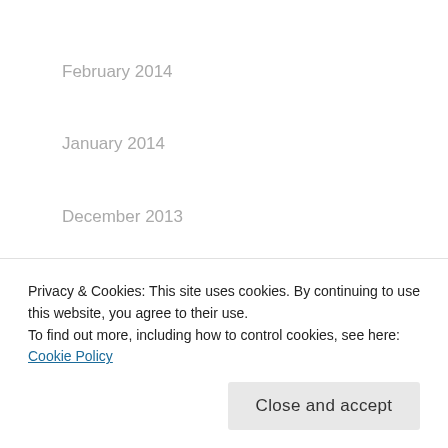February 2014
January 2014
December 2013
November 2013
October 2013
September 2013
August 2013
Privacy & Cookies: This site uses cookies. By continuing to use this website, you agree to their use.
To find out more, including how to control cookies, see here: Cookie Policy
Close and accept